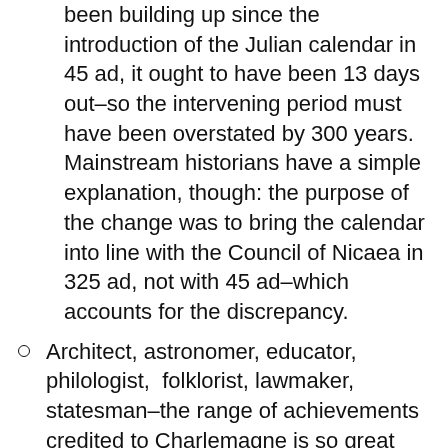been building up since the introduction of the Julian calendar in 45 ad, it ought to have been 13 days out–so the intervening period must have been overstated by 300 years. Mainstream historians have a simple explanation, though: the purpose of the change was to bring the calendar into line with the Council of Nicaea in 325 ad, not with 45 ad–which accounts for the discrepancy.
Architect, astronomer, educator, philologist,  folklorist, lawmaker, statesman–the range of achievements credited to Charlemagne is so great that it